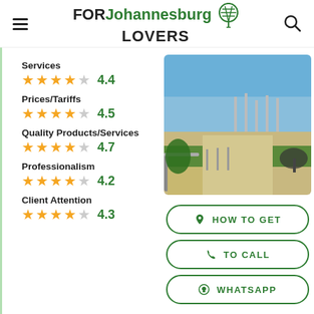FOR Johannesburg LOVERS
Services
★★★★☆ 4.4
Prices/Tariffs
★★★★☆ 4.5
Quality Products/Services
★★★★☆ 4.7
Professionalism
★★★★☆ 4.2
Client Attention
★★★★☆ 4.3
[Figure (photo): Outdoor venue with walkway, railing, plants and structures under blue sky]
HOW TO GET
TO CALL
WHATSAPP